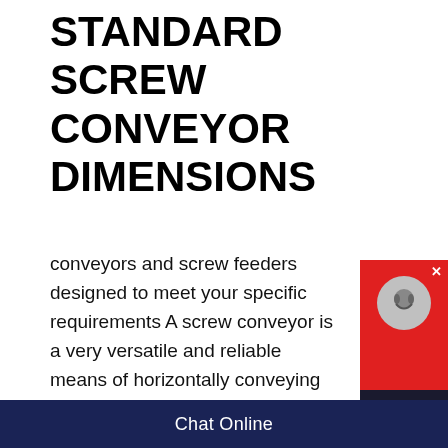STANDARD SCREW CONVEYOR DIMENSIONS
conveyors and screw feeders designed to meet your specific requirements A screw conveyor is a very versatile and reliable means of horizontally conveying most bulk materials INCLINED AND VERTICAL CONVEYINGcan be accomplished with a screw conveyor, however screws lose efficiency rapidly as the incline increases to 45°This term states how much volume can be conveyed per hour and is the most important when trying to calculate your conveying needs This will help size the proper conveyor, but we need one more piece of information first Density
[Figure (other): Chat Now customer support widget with red background, headset icon, and dark navy bottom panel showing 'Chat Now' text]
Chat Online